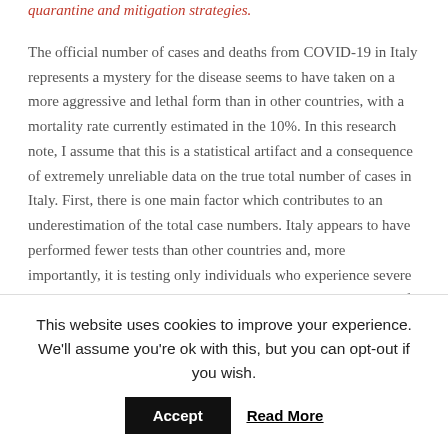quarantine and mitigation strategies.
The official number of cases and deaths from COVID-19 in Italy represents a mystery for the disease seems to have taken on a more aggressive and lethal form than in other countries, with a mortality rate currently estimated in the 10%. In this research note, I assume that this is a statistical artifact and a consequence of extremely unreliable data on the true total number of cases in Italy. First, there is one main factor which contributes to an underestimation of the total case numbers. Italy appears to have performed fewer tests than other countries and, more importantly, it is testing only individuals who experience severe symptoms, and who ultimately require hospitalization. Many of the currently infected, asymptomatic, people are therefore not included in the official count. Secondly, in more acute cases,
This website uses cookies to improve your experience. We'll assume you're ok with this, but you can opt-out if you wish.
Accept
Read More